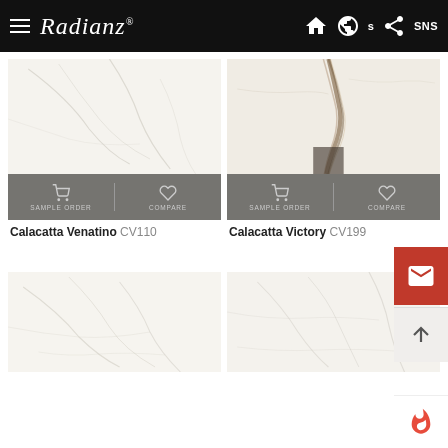Radianz
[Figure (photo): Marble stone texture - Calacatta Venatino, white marble with subtle grey veining]
SAMPLE ORDER
COMPARE
Calacatta Venatino CV110
[Figure (photo): Marble stone texture - Calacatta Victory CV199, white marble with prominent gold/brown vein]
SAMPLE ORDER
COMPARE
Calacatta Victory CV199
[Figure (photo): Marble stone texture - bottom left product, white marble with light grey veining]
[Figure (photo): Marble stone texture - bottom right product, white marble with soft grey veining]